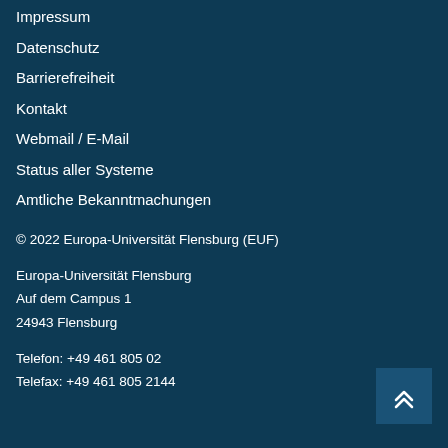Impressum
Datenschutz
Barrierefreiheit
Kontakt
Webmail / E-Mail
Status aller Systeme
Amtliche Bekanntmachungen
© 2022 Europa-Universität Flensburg (EUF)

Europa-Universität Flensburg
Auf dem Campus 1
24943 Flensburg

Telefon: +49 461 805 02
Telefax: +49 461 805 2144